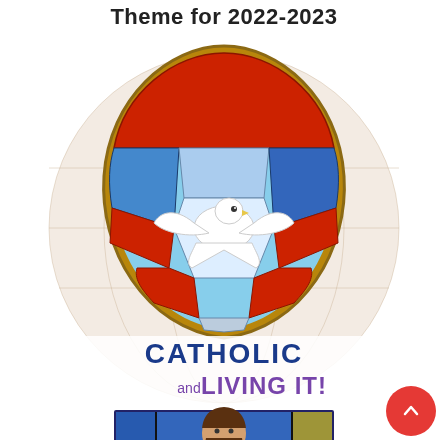Theme for 2022-2023
[Figure (illustration): Stained glass image of a dove (Holy Spirit) in an egg-shaped frame with red, blue and white colored glass panels, with a larger globe background. Below is text reading 'CATHOLIC and LIVING IT!' in bold blue and purple lettering. Below that is a second stained glass panel depicting a bearded figure (Jesus) in red robes holding a chalice, with blue and gold accents.]